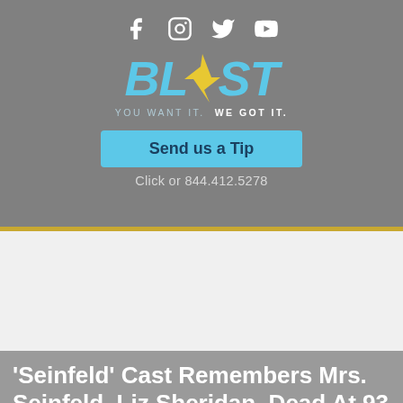[Figure (logo): Blast logo with social media icons (Facebook, Instagram, Twitter, YouTube), tagline 'YOU WANT IT. WE GOT IT.', Send us a Tip button, and phone number 844.412.5278]
'Seinfeld' Cast Remembers Mrs. Seinfeld, Liz Sheridan, Dead At 93